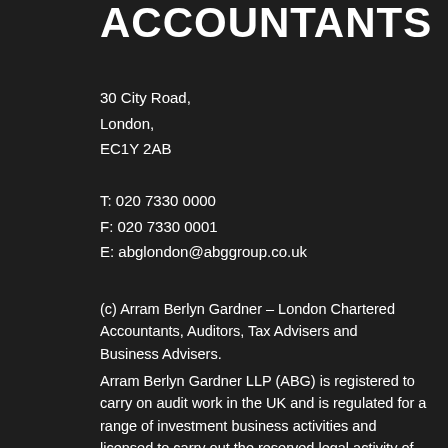ACCOUNTANTS
30 City Road,
London,
EC1Y 2AB
T: 020 7330 0000
F: 020 7330 0001
E: abglondon@abggroup.co.uk
(c) Arram Berlyn Gardner – London Chartered Accountants, Auditors, Tax Advisers and Business Advisers.
Arram Berlyn Gardner LLP (ABG) is registered to carry on audit work in the UK and is regulated for a range of investment business activities and licensed to carry out the reserved legal activity of non-contentious probate in England and Wales by the Institute of Chartered Accountants in England and Wales. Details of our audit registration can be viewed on the UK audit registers under reference C003814750. Arram Berlyn Gardner LLP